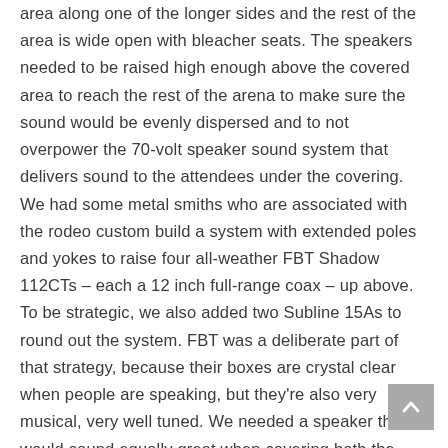area along one of the longer sides and the rest of the area is wide open with bleacher seats. The speakers needed to be raised high enough above the covered area to reach the rest of the arena to make sure the sound would be evenly dispersed and to not overpower the 70-volt speaker sound system that delivers sound to the attendees under the covering. We had some metal smiths who are associated with the rodeo custom build a system with extended poles and yokes to raise four all-weather FBT Shadow 112CTs – each a 12 inch full-range coax – up above. To be strategic, we also added two Subline 15As to round out the system. FBT was a deliberate part of that strategy, because their boxes are crystal clear when people are speaking, but they're also very musical, very well tuned. We needed a speaker that would sound equally great when covering both the announcer and the music that's often played as part of the event."
[Figure (other): Back-to-top navigation button (grey square with upward chevron arrow)]